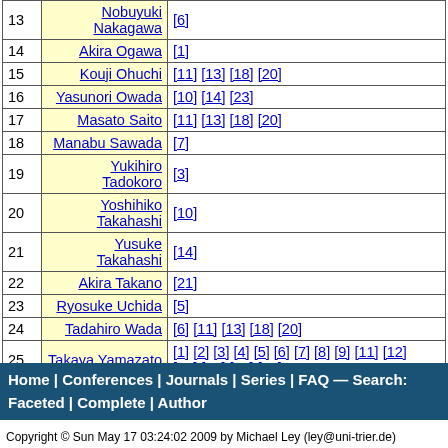| # | Name | References |
| --- | --- | --- |
| 13 | Nobuyuki Nakagawa | [6] |
| 14 | Akira Ogawa | [1] |
| 15 | Kouji Ohuchi | [11] [13] [18] [20] |
| 16 | Yasunori Owada | [10] [14] [23] |
| 17 | Masato Saito | [11] [13] [18] [20] |
| 18 | Manabu Sawada | [7] |
| 19 | Yukihiro Tadokoro | [3] |
| 20 | Yoshihiko Takahashi | [10] |
| 21 | Yusuke Takahashi | [14] |
| 22 | Akira Takano | [21] |
| 23 | Ryosuke Uchida | [5] |
| 24 | Tadahiro Wada | [6] [11] [13] [18] [20] |
| 25 | Takaya Yamazato | [1] [2] [3] [4] [5] [6] [7] [8] [9] [11] [12] [15] [16] [17] [19] |
Home | Conferences | Journals | Series | FAQ — Search: Faceted | Complete | Author
Copyright © Sun May 17 03:24:02 2009 by Michael Ley (ley@uni-trier.de)